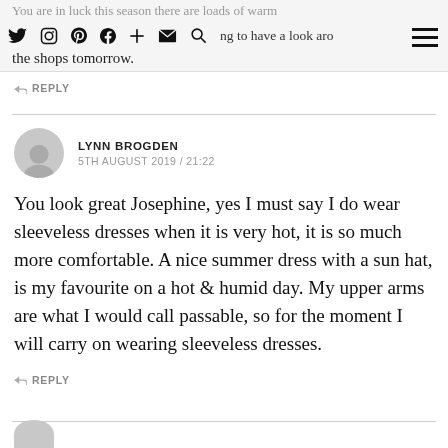You are in luck this season there are loads of warm colours around. I will be going to have a look around the shops tomorrow.
↩ REPLY
LYNN BROGDEN
5TH AUGUST 2019 / 21:22
You look great Josephine, yes I must say I do wear sleeveless dresses when it is very hot, it is so much more comfortable. A nice summer dress with a sun hat, is my favourite on a hot & humid day. My upper arms are what I would call passable, so for the moment I will carry on wearing sleeveless dresses.
↩ REPLY